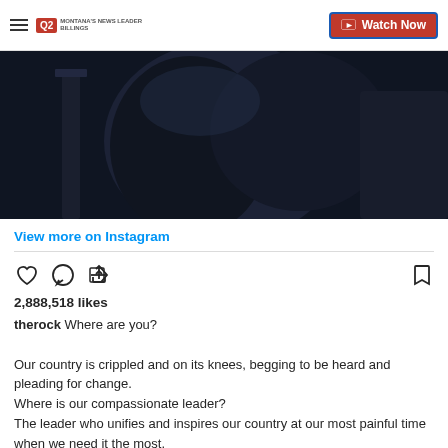Q2 Montana's News Leader Billings | Watch Now
[Figure (photo): Dark screenshot of a person in a dark shirt, dimly lit room with furniture in background]
View more on Instagram
2,888,518 likes
therock Where are you?

Our country is crippled and on its knees, begging to be heard and pleading for change.
Where is our compassionate leader?
The leader who unifies and inspires our country at our most painful time when we need it the most.
The leader who steps up and takes full accountability for our